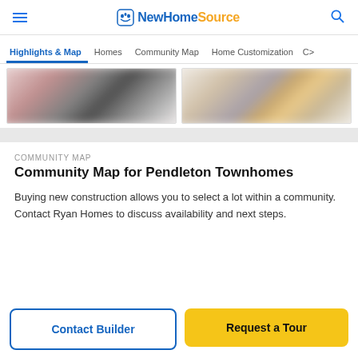NewHomeSource
Highlights & Map  Homes  Community Map  Home Customization  C>
[Figure (photo): Two blurred property/community images side by side]
COMMUNITY MAP
Community Map for Pendleton Townhomes
Buying new construction allows you to select a lot within a community. Contact Ryan Homes to discuss availability and next steps.
Contact Builder
Request a Tour